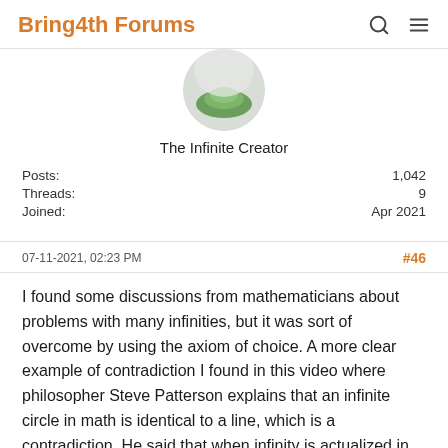Bring4th Forums
[Figure (illustration): Circular avatar image showing green plant/nature motif, partially visible at top]
The Infinite Creator
Posts: 1,042
Threads: 9
Joined: Apr 2021
07-11-2021, 02:23 PM   #46
I found some discussions from mathematicians about problems with many infinities, but it was sort of overcome by using the axiom of choice. A more clear example of contradiction I found in this video where philosopher Steve Patterson explains that an infinite circle in math is identical to a line, which is a contradiction. He said that when infinity is actualized in math, when infinity is "completed" it causes logical errors. That supports Ra's